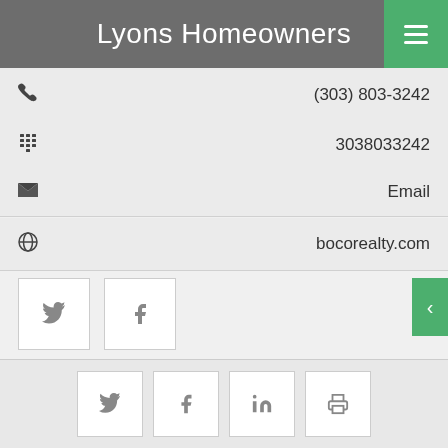Lyons Homeowners
(303) 803-3242
3038033242
Email
bocorealty.com
[Figure (screenshot): Twitter and Facebook social share buttons]
Request More Information
Tell me more about this listing
[Figure (screenshot): Bottom bar social share buttons: Twitter, Facebook, LinkedIn, Print]